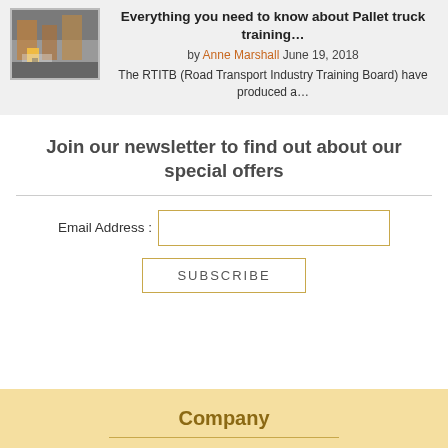[Figure (photo): Warehouse/forklift area with worker in yellow vest]
Everything you need to know about Pallet truck training…
by Anne Marshall June 19, 2018
The RTITB (Road Transport Industry Training Board) have produced a…
Join our newsletter to find out about our special offers
Email Address :
SUBSCRIBE
Company